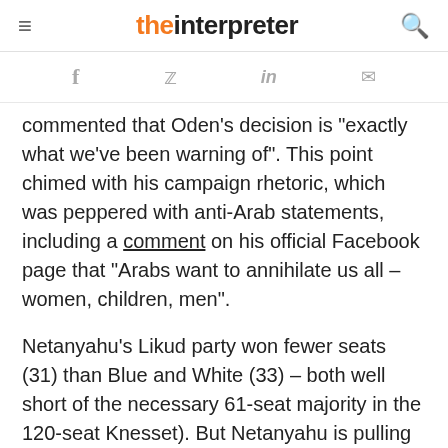the interpreter
commented that Oden's decision is "exactly what we've been warning of". This point chimed with his campaign rhetoric, which was peppered with anti-Arab statements, including a comment on his official Facebook page that "Arabs want to annihilate us all – women, children, men".
Netanyahu's Likud party won fewer seats (31) than Blue and White (33) – both well short of the necessary 61-seat majority in the 120-seat Knesset). But Netanyahu is pulling out all the stops to remain Prime Minister in the hope of gaining immunity from corruption charges against